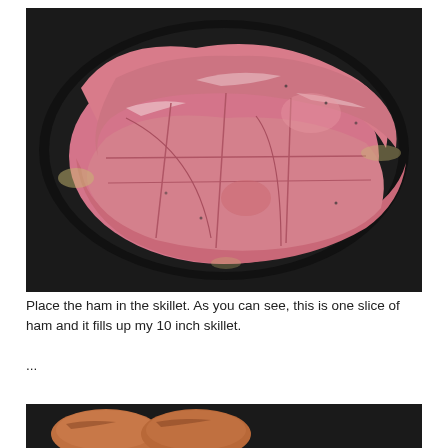[Figure (photo): A large slice of raw ham sitting in a black cast iron skillet, showing pink meat with white fat marbling and scoring cuts across the surface, filling the entire pan.]
Place the ham in the skillet.  As you can see, this is one slice of ham and it fills up my 10 inch skillet.
...
[Figure (photo): Bottom portion of a second photo showing what appears to be cooked ham slices in a dark skillet, partially visible.]